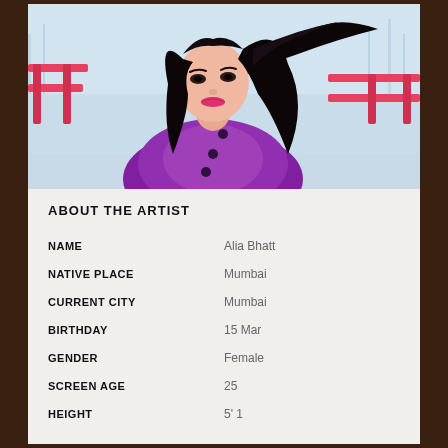[Figure (photo): Portrait photo of Alia Bhatt, a young woman with long dark hair blowing in the wind, wearing a magenta/purple quilted jacket, seated near a pink bench with a wintry blue background]
ABOUT THE ARTIST
| NAME | Alia Bhatt |
| NATIVE PLACE | Mumbai |
| CURRENT CITY | Mumbai |
| BIRTHDAY | 15 Mar |
| GENDER | Female |
| SCREEN AGE | 25 |
| HEIGHT | 5' 1 |